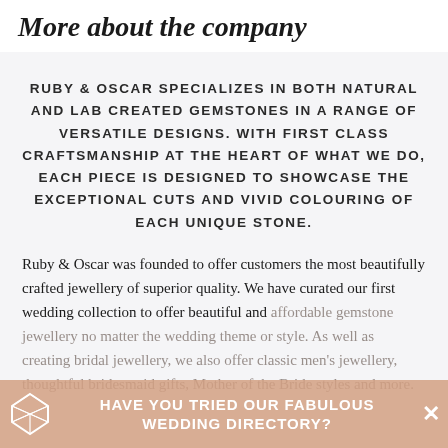More about the company
RUBY & OSCAR SPECIALIZES IN BOTH NATURAL AND LAB CREATED GEMSTONES IN A RANGE OF VERSATILE DESIGNS. WITH FIRST CLASS CRAFTSMANSHIP AT THE HEART OF WHAT WE DO, EACH PIECE IS DESIGNED TO SHOWCASE THE EXCEPTIONAL CUTS AND VIVID COLOURING OF EACH UNIQUE STONE.
Ruby & Oscar was founded to offer customers the most beautifully crafted jewellery of superior quality. We have curated our first wedding collection to offer beautiful and affordable gemstone jewellery no matter the wedding theme or style. As well as creating bridal jewellery, we also offer classic men's jewellery, thoughtful bridesmaid gifts, Mother of the Bride styles and more.
HAVE YOU TRIED OUR FABULOUS WEDDING DIRECTORY?